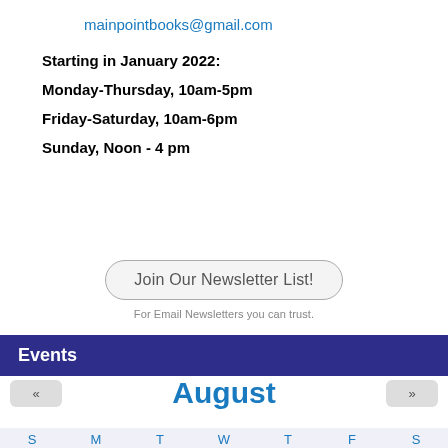mainpointbooks@gmail.com
Starting in January 2022:
Monday-Thursday, 10am-5pm
Friday-Saturday, 10am-6pm
Sunday, Noon - 4 pm
Join Our Newsletter List!
For Email Newsletters you can trust.
Events
August
S M T W T F S